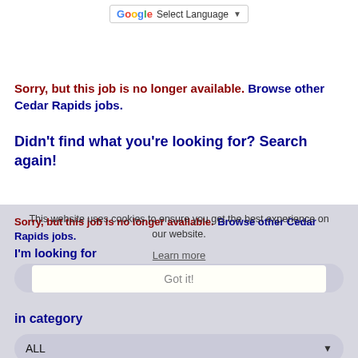[Figure (other): Google Translate language selector button with 'Select Language' text and dropdown arrow]
Sorry, but this job is no longer available. Browse other Cedar Rapids jobs.
Didn't find what you're looking for? Search again!
Sorry, but this job is no longer available. Browse other Cedar Rapids jobs.
I'm looking for
This website uses cookies to ensure you get the best experience on our website.
Learn more
Got it!
in category
ALL